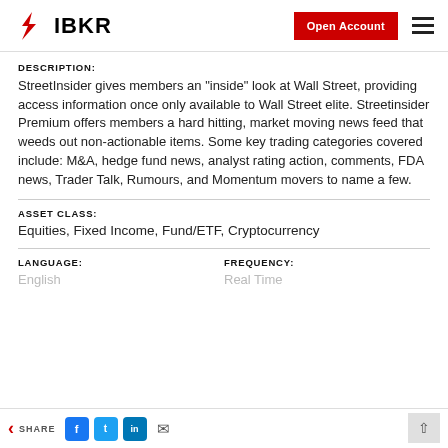IBKR — Open Account
DESCRIPTION:
StreetInsider gives members an "inside" look at Wall Street, providing access information once only available to Wall Street elite. Streetinsider Premium offers members a hard hitting, market moving news feed that weeds out non-actionable items. Some key trading categories covered include: M&A, hedge fund news, analyst rating action, comments, FDA news, Trader Talk, Rumours, and Momentum movers to name a few.
ASSET CLASS:
Equities, Fixed Income, Fund/ETF, Cryptocurrency
LANGUAGE:
English
FREQUENCY:
Real Time